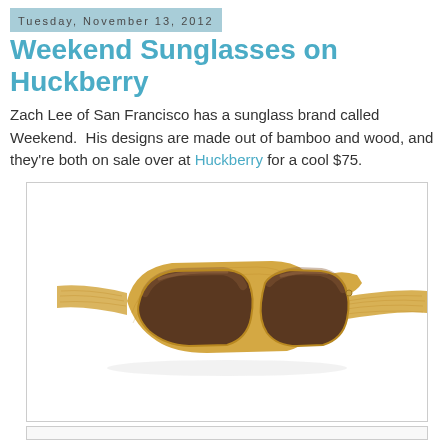Tuesday, November 13, 2012
Weekend Sunglasses on Huckberry
Zach Lee of San Francisco has a sunglass brand called Weekend. His designs are made out of bamboo and wood, and they're both on sale over at Huckberry for a cool $75.
[Figure (photo): Wooden/bamboo framed sunglasses with brown gradient lenses, wayfarer style, photographed on a white background]